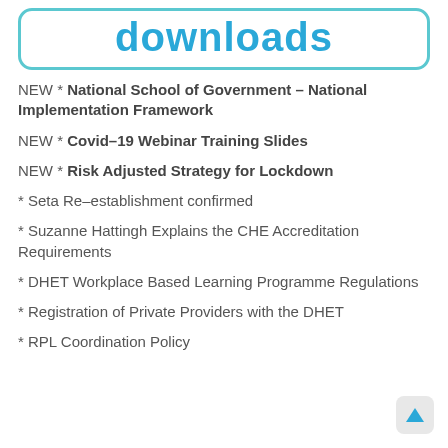downloads
NEW * National School of Government – National Implementation Framework
NEW * Covid–19 Webinar Training Slides
NEW * Risk Adjusted Strategy for Lockdown
* Seta Re–establishment confirmed
* Suzanne Hattingh Explains the CHE Accreditation Requirements
* DHET Workplace Based Learning Programme Regulations
* Registration of Private Providers with the DHET
* RPL Coordination Policy